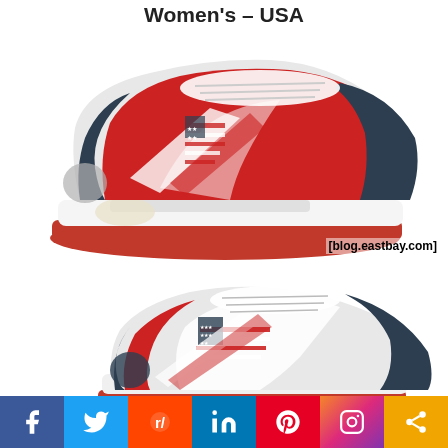Women's – USA
[Figure (photo): Side view of ASICS women's running shoe in red, white, and navy USA colorway, shown from the lateral side. Watermark: [blog.eastbay.com]]
[Figure (photo): Front-angled view of ASICS women's running shoe in red, white, and navy USA colorway, showing the toe box and upper. Watermark: [blog.eastbay.com]]
[Figure (infographic): Social sharing bar with icons for Facebook, Twitter, Reddit, LinkedIn, Pinterest, Instagram, and Share]